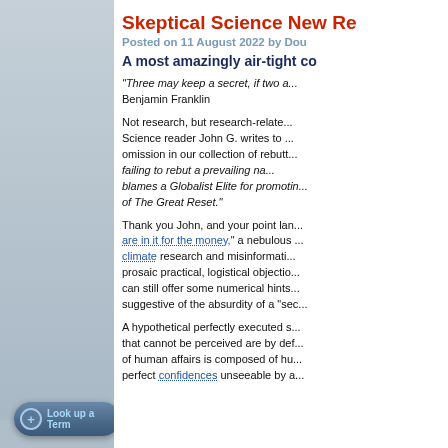Skeptical Science New Re...
Posted on 11 August 2022 by Dou...
A most amazingly air-tight co...
"Three may keep a secret, if two a... Benjamin Franklin
Not research, but research-relate... Science reader John G. writes to ... omission in our collection of rebutt... failing to rebut a prevailing na... blames a Globalist Elite for promotin... of The Great Reset."
Thank you John, and your point lan... are in it for the money," a nebulous ... climate research and misinformati... prosaic practical, logistical objectio... can still offer some numerical hints... suggestive of the absurdity of a "sec...
A hypothetical perfectly executed s... that cannot be perceived are by def... of human affairs is composed of hu... perfect confidences unseeable by a...
Look up a Term